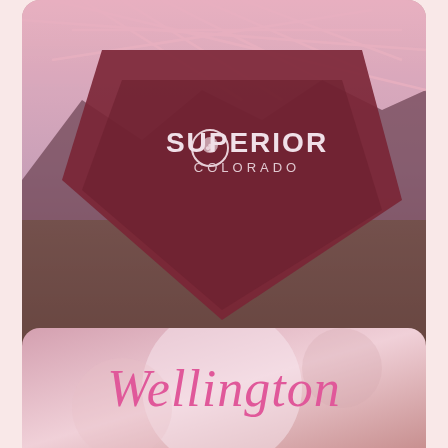[Figure (photo): Superior, Colorado town sign/monument with geometric angular dark red/maroon metal structure, set against a landscape with mountains and grassy field under a pink/purple sunset sky. White geometric lines/lattice visible at top.]
Awarded 2018
[Figure (photo): Wellington - partial card at bottom showing 'Wellington' in pink cursive/script text over a photo background with pinkish floral/landscape tones.]